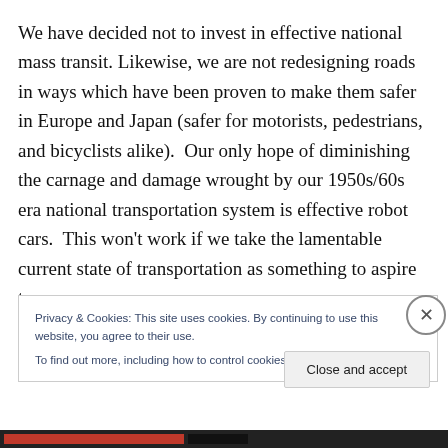We have decided not to invest in effective national mass transit. Likewise, we are not redesigning roads in ways which have been proven to make them safer in Europe and Japan (safer for motorists, pedestrians, and bicyclists alike).  Our only hope of diminishing the carnage and damage wrought by our 1950s/60s era national transportation system is effective robot cars.  This won't work if we take the lamentable current state of transportation as something to aspire to.
Privacy & Cookies: This site uses cookies. By continuing to use this website, you agree to their use.
To find out more, including how to control cookies, see here: Cookie Policy
Close and accept